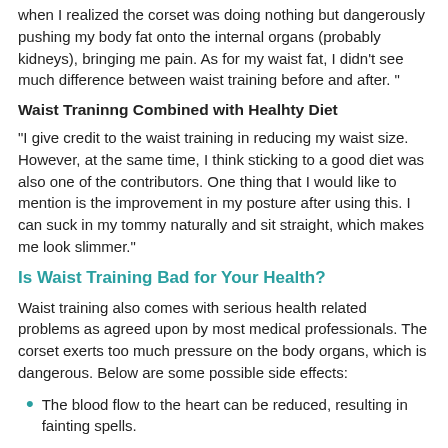when I realized the corset was doing nothing but dangerously pushing my body fat onto the internal organs (probably kidneys), bringing me pain. As for my waist fat, I didn't see much difference between waist training before and after. "
Waist Traninng Combined with Healhty Diet
"I give credit to the waist training in reducing my waist size. However, at the same time, I think sticking to a good diet was also one of the contributors. One thing that I would like to mention is the improvement in my posture after using this. I can suck in my tommy naturally and sit straight, which makes me look slimmer."
Is Waist Training Bad for Your Health?
Waist training also comes with serious health related problems as agreed upon by most medical professionals. The corset exerts too much pressure on the body organs, which is dangerous. Below are some possible side effects:
The blood flow to the heart can be reduced, resulting in fainting spells.